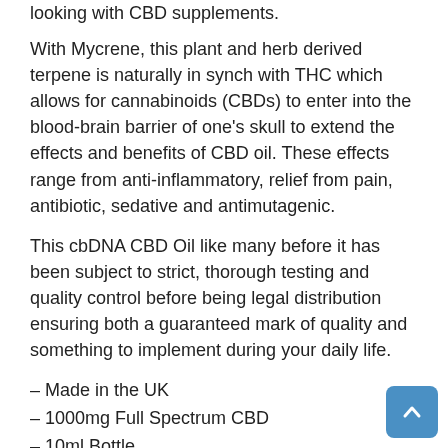looking with CBD supplements.
With Mycrene, this plant and herb derived terpene is naturally in synch with THC which allows for cannabinoids (CBDs) to enter into the blood-brain barrier of one's skull to extend the effects and benefits of CBD oil. These effects range from anti-inflammatory, relief from pain, antibiotic, sedative and antimutagenic.
This cbDNA CBD Oil like many before it has been subject to strict, thorough testing and quality control before being legal distribution ensuring both a guaranteed mark of quality and something to implement during your daily life.
– Made in the UK
– 1000mg Full Spectrum CBD
– 10ml Bottle
– 200 Drops per Bottle
– Recommended Daily Dosage: 4-10 Drops Twice A Day
– Enriched with Additional Terpenes